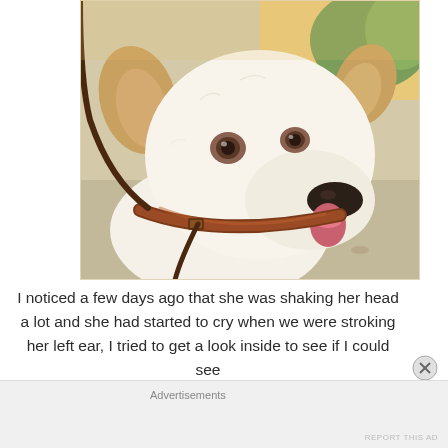[Figure (photo): Close-up photo of a white and tan dog with a brown leather collar and leash, looking at the camera with its mouth open and tongue slightly out, outdoors on a gravel or sandy surface with greenery in the background.]
I noticed a few days ago that she was shaking her head a lot and she had started to cry when we were stroking her left ear, I tried to get a look inside to see if I could see
Advertisements